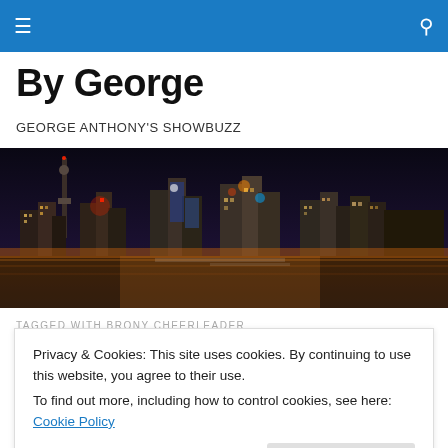By George — navigation bar with hamburger menu and search icon
By George
GEORGE ANTHONY'S SHOWBUZZ
[Figure (photo): Night skyline of Toronto with city lights reflecting on water]
TAGGED WITH BRONY CHEERLEADER
Privacy & Cookies: This site uses cookies. By continuing to use this website, you agree to their use.
To find out more, including how to control cookies, see here: Cookie Policy
Close and accept